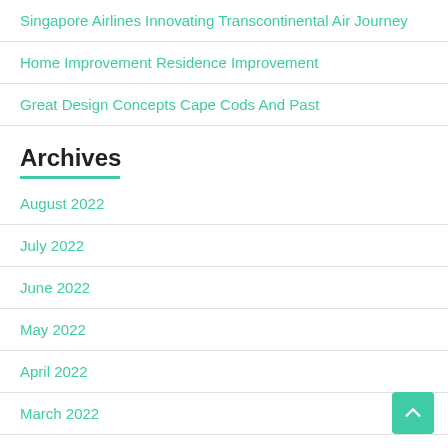Singapore Airlines Innovating Transcontinental Air Journey
Home Improvement Residence Improvement
Great Design Concepts Cape Cods And Past
Archives
August 2022
July 2022
June 2022
May 2022
April 2022
March 2022
February 2022
January 2022